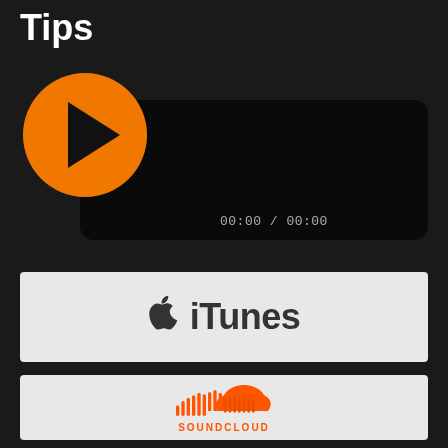Tips
[Figure (other): Audio player widget with orange circular play button and dark background showing time 00:00 / 00:00]
[Figure (logo): iTunes logo with Apple icon and iTunes text on light grey background]
[Figure (logo): SoundCloud logo with orange cloud/waveform icon and SOUNDCLOUD text on light grey background]